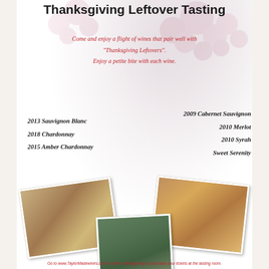Thanksgiving Leftover Tasting
Come and enjoy a flight of wines that pair well with "Thanksgiving Leftovers". Enjoy a petite bite with each wine.
2013 Sauvignon Blanc
2018 Chardonnay
2015 Amber Chardonnay
2009 Cabernet Sauvignon
2010 Merlot
2010 Syrah
Sweet Serenity
[Figure (photo): Three overlapping rotated photographs of Thanksgiving dinner tables and a vineyard/winery crowd scene]
Go to www.TaylorMadewinés.com to order Thanksgiving or purchase your tickets at the tasting room.